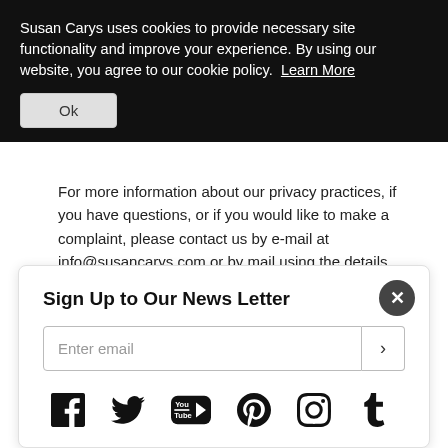Susan Carys uses cookies to provide necessary site functionality and improve your experience. By using our website, you agree to our cookie policy. Learn More
Ok
For more information about our privacy practices, if you have questions, or if you would like to make a complaint, please contact us by e-mail at info@susancarys.com or by mail using the details provided below:
Sign Up to Our News Letter
Enter email
[Figure (other): Social media icons row: Facebook, Twitter, YouTube, Pinterest, Instagram, Tumblr]